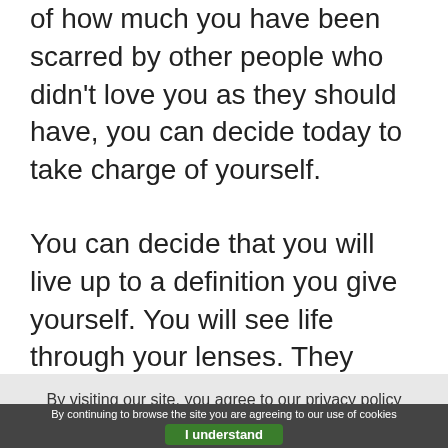of how much you have been scarred by other people who didn't love you as they should have, you can decide today to take charge of yourself.
You can decide that you will live up to a definition you give yourself. You will see life through your lenses. They won't give you compliments when you look good?
Well, look at yourself in the mirror and give
By visiting our site, you agree to our privacy policy regarding cookies, tracking statistics, etc. Read more
By continuing to browse the site you are agreeing to our use of cookies